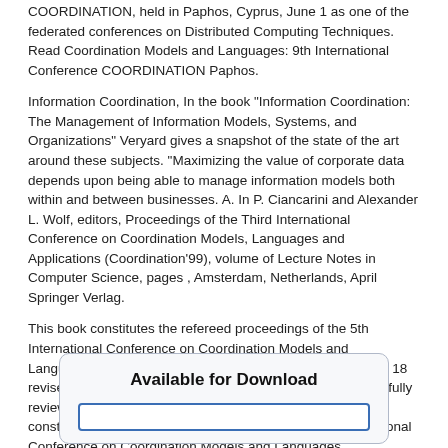COORDINATION, held in Paphos, Cyprus, June 1 as one of the federated conferences on Distributed Computing Techniques.   Read Coordination Models and Languages: 9th International Conference COORDINATION Paphos.
Information Coordination, In the book "Information Coordination: The Management of Information Models, Systems, and Organizations" Veryard gives a snapshot of the state of the art around these subjects. "Maximizing the value of corporate data depends upon being able to manage information models both within and between businesses. A. In P. Ciancarini and Alexander L. Wolf, editors, Proceedings of the Third International Conference on Coordination Models, Languages and Applications (Coordination'99), volume of Lecture Notes in Computer Science, pages , Amsterdam, Netherlands, April Springer Verlag.
This book constitutes the refereed proceedings of the 5th International Conference on Coordination Models and Languages, COORDINATION , held in York, UK, in April The 18 revised full papers and 14 short papers presented were carefully reviewed and selected from 55 : Farhad Arbab. This book constitutes the refereed proceedings of the Second International Conference on Coordination Models and Languages, COORDINATION '97, held in Berlin, Germany, in September The 22 revised full papers and 6 posters presented in the book were carefully reviewed and selected from a total of 69 submissions. Also included are three invited.
Available for Download